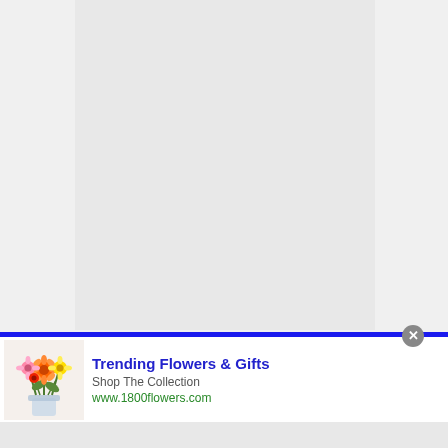[Figure (illustration): Large light gray document/page area displayed in the upper portion of the screen, flanked by white space on left and right sides]
[Figure (infographic): Advertisement banner for 1800flowers.com. Shows a colorful bouquet of flowers (gerbera daisies, roses in orange, pink, red, yellow) in a vase on the left. Text reads 'Trending Flowers & Gifts', 'Shop The Collection', 'www.1800flowers.com'. A large purple/lavender circle with a dark blue circle containing a white right-arrow chevron appears on the right side. A gray close (X) button is at the top right of the ad. A small 'Ad' badge icon appears top right.]